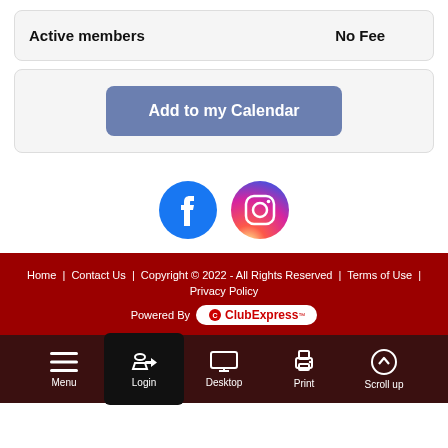|  |  |
| --- | --- |
| Active members | No Fee |
Add to my Calendar
[Figure (logo): Facebook and Instagram social media icons]
Home | Contact Us | Copyright © 2022 - All Rights Reserved | Terms of Use | Privacy Policy
Powered By ClubExpress
[Figure (other): Bottom navigation bar with Menu, Login, Desktop, Print, Scroll up buttons]